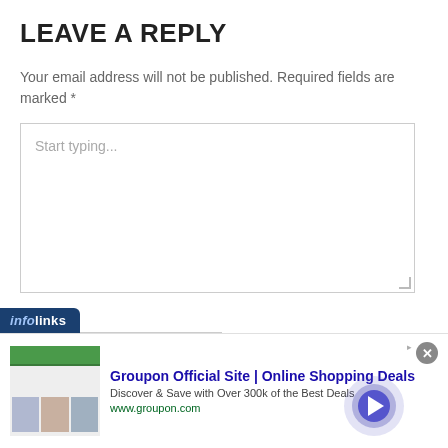LEAVE A REPLY
Your email address will not be published. Required fields are marked *
Start typing...
Name *
[Figure (screenshot): Infolinks ad overlay tab with dark blue background and white 'infolinks' text]
[Figure (screenshot): Groupon advertisement banner: 'Groupon Official Site | Online Shopping Deals', 'Discover & Save with Over 300k of the Best Deals', www.groupon.com, with product images on left and navigation arrow on right. Close button (X) in top right corner.]